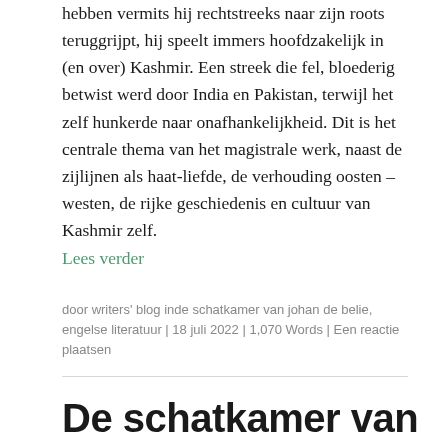hebben vermits hij rechtstreeks naar zijn roots teruggrijpt, hij speelt immers hoofdzakelijk in (en over) Kashmir. Een streek die fel, bloederig betwist werd door India en Pakistan, terwijl het zelf hunkerde naar onafhankelijkheid. Dit is het centrale thema van het magistrale werk, naast de zijlijnen als haat-liefde, de verhouding oosten – westen, de rijke geschiedenis en cultuur van Kashmir zelf.
Lees verder
door writers' blog inde schatkamer van johan de belie, engelse literatuur | 18 juli 2022 | 1,070 Words | Een reactie plaatsen
De schatkamer van